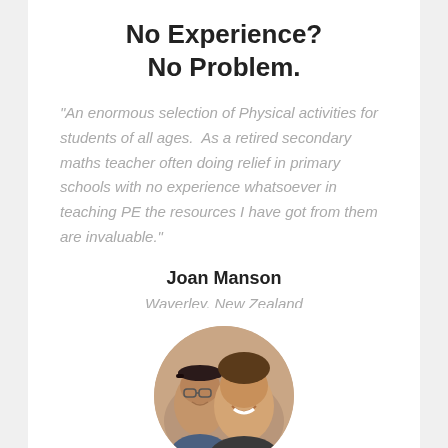No Experience? No Problem.
"An enormous selection of Physical activities for students of all ages.  As a retired secondary maths teacher often doing relief in primary schools with no experience whatsoever in teaching PE the resources I have got from them are invaluable."
Joan Manson
Waverley, New Zealand
[Figure (photo): Circular portrait photo of two people smiling, an older person wearing glasses and a cap on the left, and a younger person on the right.]